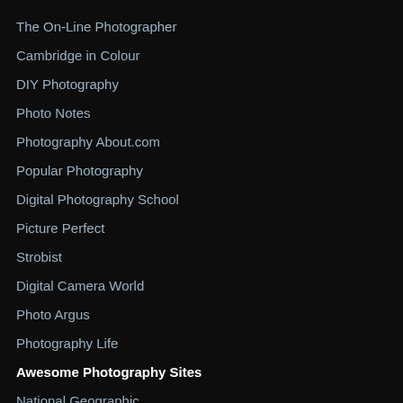The On-Line Photographer
Cambridge in Colour
DIY Photography
Photo Notes
Photography About.com
Popular Photography
Digital Photography School
Picture Perfect
Strobist
Digital Camera World
Photo Argus
Photography Life
Awesome Photography Sites
National Geographic
Bob Boyd
Late Braker & BWIP
1X.com